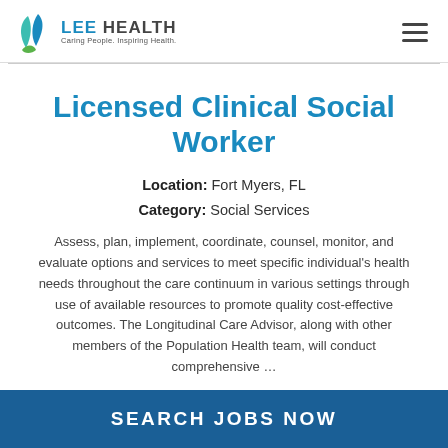LEE HEALTH — Caring People. Inspiring Health.
Licensed Clinical Social Worker
Location: Fort Myers, FL
Category: Social Services
Assess, plan, implement, coordinate, counsel, monitor, and evaluate options and services to meet specific individual's health needs throughout the care continuum in various settings through use of available resources to promote quality cost-effective outcomes. The Longitudinal Care Advisor, along with other members of the Population Health team, will conduct comprehensive …
SEARCH JOBS NOW